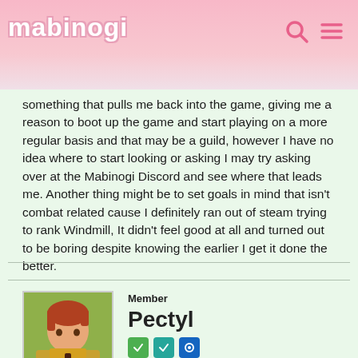mabinogi
something that pulls me back into the game, giving me a reason to boot up the game and start playing on a more regular basis and that may be a guild, however I have no idea where to start looking or asking I may try asking over at the Mabinogi Discord and see where that leads me. Another thing might be to set goals in mind that isn't combat related cause I definitely ran out of steam trying to rank Windmill, It didn't feel good at all and turned out to be boring despite knowing the earlier I get it done the better.
Member
Pectyl
Mabinogi Rep: 1,475
Posts: 78
APRIL 15, 2021